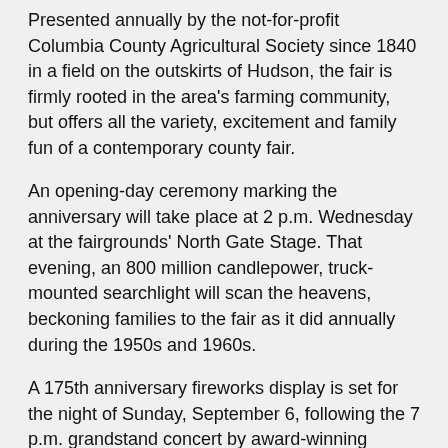Presented annually by the not-for-profit Columbia County Agricultural Society since 1840 in a field on the outskirts of Hudson, the fair is firmly rooted in the area's farming community, but offers all the variety, excitement and family fun of a contemporary county fair.
An opening-day ceremony marking the anniversary will take place at 2 p.m. Wednesday at the fairgrounds' North Gate Stage. That evening, an 800 million candlepower, truck-mounted searchlight will scan the heavens, beckoning families to the fair as it did annually during the 1950s and 1960s.
A 175th anniversary fireworks display is set for the night of Sunday, September 6, following the 7 p.m. grandstand concert by award-winning country singer-songwriter Rodney Atkins. He will perform one show only, unlike past years when the headliner has done two.
Admission to the fair is $10/person Wednesday through Saturday, $12 on Sunday, and $10 on Monday. Children ages 12 and under get in free throughout the fair. Active military personnel with ID or in uniform are also admitted free. On Thursday, from 10 a.m. to 4 p.m., seniors with a will